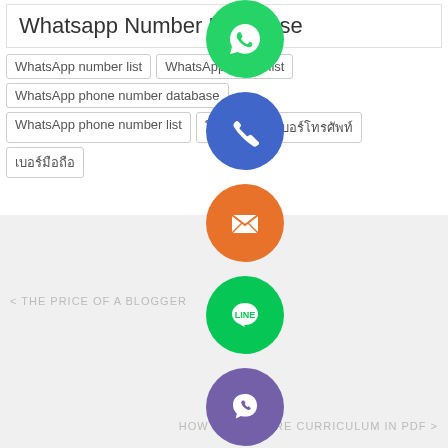Whatsapp Number Database
WhatsApp number list
WhatsApp phone list
WhatsApp phone number database
WhatsApp phone number list
โทรศัพท์
เบอร์โทรศัพท์
เบอร์มือถือ
[Figure (infographic): Vertical stack of social media / contact app icons: WhatsApp (green), Phone (blue), Email (orange), LINE (green), Viber (purple), Close/X (green)]
< THE PRICE OF A BLOGGER
HOW TO PREPARE CURRICULUM IN PDF >